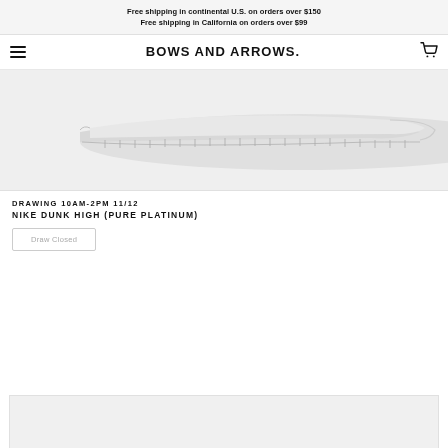Free shipping in continental U.S. on orders over $150
Free shipping in California on orders over $99
[Figure (logo): Bows and Arrows store logo with hamburger menu icon on left and shopping cart icon on right]
[Figure (photo): Nike Dunk High Pure Platinum shoe product photo showing the sole and side profile against a light grey background]
DRAWING 10AM-2PM 11/12
NIKE DUNK HIGH (PURE PLATINUM)
Draw Closed
[Figure (photo): Partial product image at bottom of page, grey background]